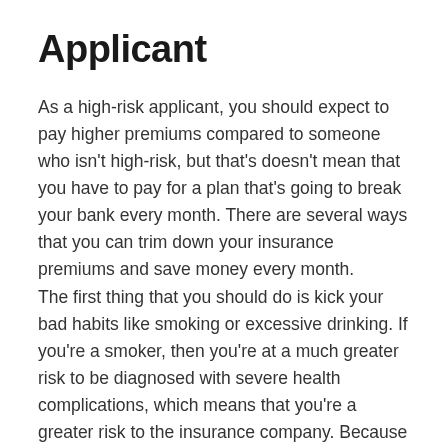Applicant
As a high-risk applicant, you should expect to pay higher premiums compared to someone who isn't high-risk, but that's doesn't mean that you have to pay for a plan that's going to break your bank every month. There are several ways that you can trim down your insurance premiums and save money every month.
The first thing that you should do is kick your bad habits like smoking or excessive drinking. If you're a smoker, then you're at a much greater risk to be diagnosed with severe health complications, which means that you're a greater risk to the insurance company. Because you're already a high-risk applicant, smoker is